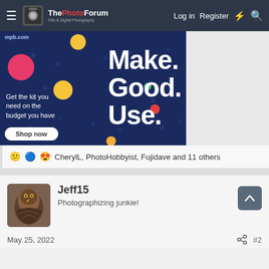ThePhotoForum - Film & Digital Photography | Log in | Register
[Figure (advertisement): MPB.com advertisement banner with dark navy background, colorful dots, text 'Make Good. Use.' and 'Get the kit you need on the budget you have' with a 'Shop now' button]
😕🔵😍 CherylL, PhotoHobbyist, Fujidave and 11 others
Jeff15
Photographizing junkie!
May 25, 2022  #2